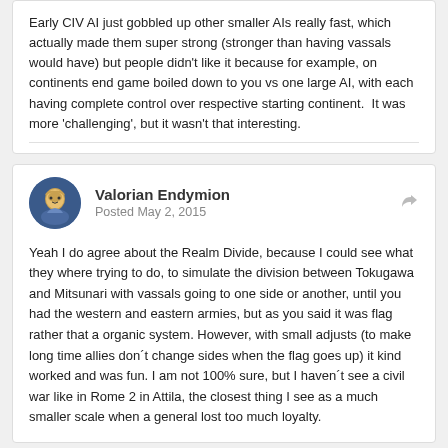Early CIV AI just gobbled up other smaller AIs really fast, which actually made them super strong (stronger than having vassals would have) but people didn't like it because for example, on continents end game boiled down to you vs one large AI, with each having complete control over respective starting continent.  It was more 'challenging', but it wasn't that interesting.
Valorian Endymion
Posted May 2, 2015
Yeah I do agree about the Realm Divide, because I could see what they where trying to do, to simulate the division between Tokugawa and Mitsunari with vassals going to one side or another, until you had the western and eastern armies, but as you said it was flag rather that a organic system. However, with small adjusts (to make long time allies don´t change sides when the flag goes up) it kind worked and was fun. I am not 100% sure, but I haven´t see a civil war like in Rome 2 in Attila, the closest thing I see as a much smaller scale when a general lost too much loyalty.